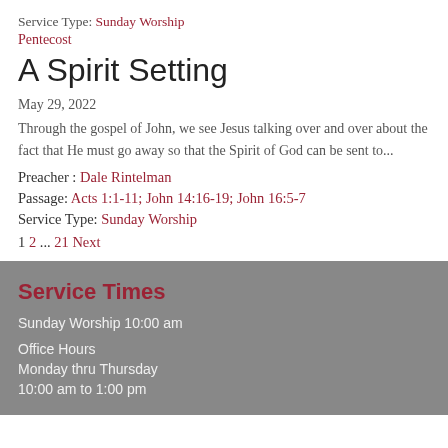Service Type: Sunday Worship
Pentecost
A Spirit Setting
May 29, 2022
Through the gospel of John, we see Jesus talking over and over about the fact that He must go away so that the Spirit of God can be sent to...
Preacher : Dale Rintelman
Passage: Acts 1:1-11; John 14:16-19; John 16:5-7
Service Type: Sunday Worship
1 2 ... 21 Next
Service Times
Sunday Worship 10:00 am
Office Hours
Monday thru Thursday
10:00 am to 1:00 pm